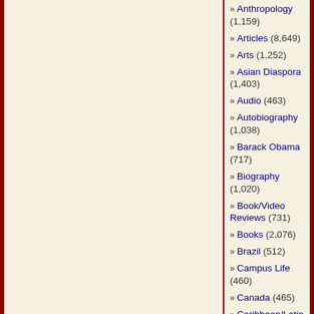» Anthropology (1,159)
» Articles (8,649)
» Arts (1,252)
» Asian Diaspora (1,403)
» Audio (463)
» Autobiography (1,038)
» Barack Obama (717)
» Biography (1,020)
» Book/Video Reviews (731)
» Books (2,076)
» Brazil (512)
» Campus Life (460)
» Canada (465)
» Caribbean/Latin America (1,398)
» Census/Demographics (1,067)
» Chapter (44)
»